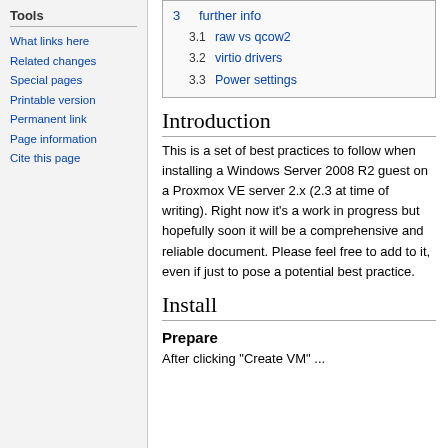Tools
What links here
Related changes
Special pages
Printable version
Permanent link
Page information
Cite this page
| 3 further info |
| 3.1  raw vs qcow2 |
| 3.2  virtio drivers |
| 3.3  Power settings |
Introduction
This is a set of best practices to follow when installing a Windows Server 2008 R2 guest on a Proxmox VE server 2.x (2.3 at time of writing). Right now it's a work in progress but hopefully soon it will be a comprehensive and reliable document. Please feel free to add to it, even if just to pose a potential best practice.
Install
Prepare
After clicking "Create VM" ...